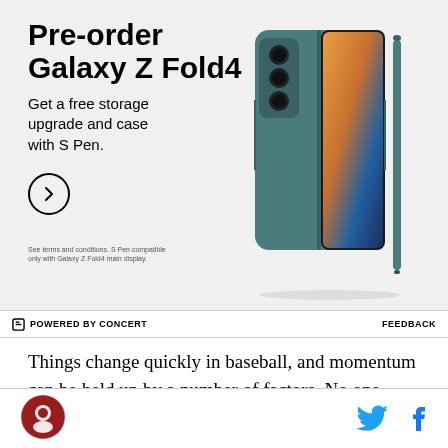[Figure (photo): Samsung Galaxy Z Fold4 advertisement banner. Text reads 'Pre-order Galaxy Z Fold4. Get a free storage upgrade and case with S Pen.' with a chevron arrow button and fine print. Image shows teal/green Galaxy Z Fold4 phone with S Pen and case.]
POWERED BY CONCERT   FEEDBACK
Things change quickly in baseball, and momentum can be held up by a number of factors. No one really knows exactly why a team suddenly finds the range and starts making solid meaningful contact, but it took 5 innings